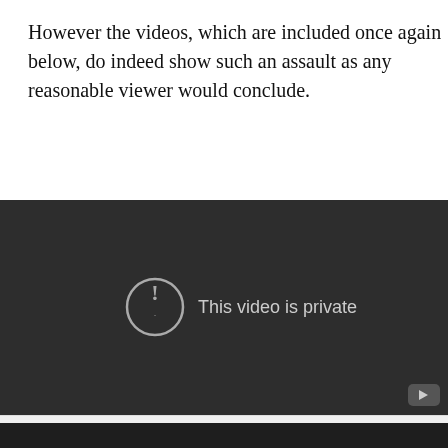However the videos, which are included once again below, do indeed show such an assault as any reasonable viewer would conclude.
[Figure (screenshot): Embedded video player showing a dark background with a circular exclamation mark icon and the text 'This video is private'. A YouTube logo appears in the bottom-right corner.]
[Figure (screenshot): Second embedded video player, mostly dark/black, partially visible at the bottom of the page.]